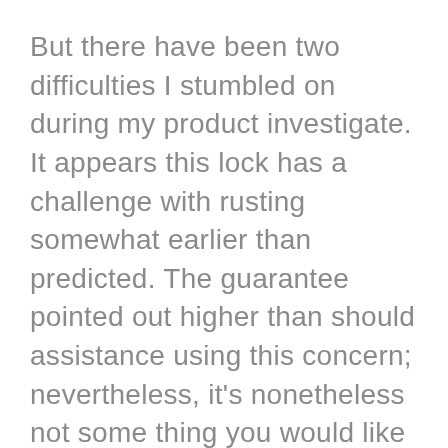But there have been two difficulties I stumbled on during my product investigate. It appears this lock has a challenge with rusting somewhat earlier than predicted. The guarantee pointed out higher than should assistance using this concern; nevertheless, it's nonetheless not some thing you would like to see from a cabinet lock.
This attribute will guard you against an item not meeting your anticipations. It's a backup strategy to ensure you Have a very way outside